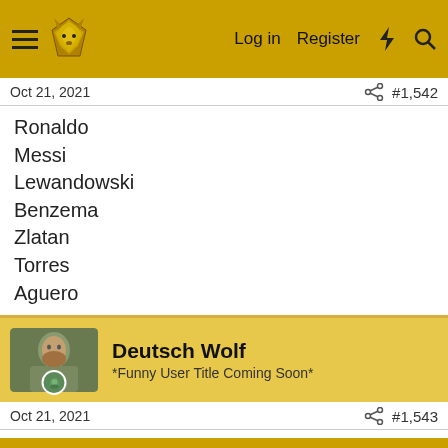Log in  Register
Oct 21, 2021  #1,542
Ronaldo
Messi
Lewandowski
Benzema
Zlatan
Torres
Aguero
Deutsch Wolf
*Funny User Title Coming Soon*
Oct 21, 2021  #1,543
All correct bar Torres (189)
Elephant Pyjamas